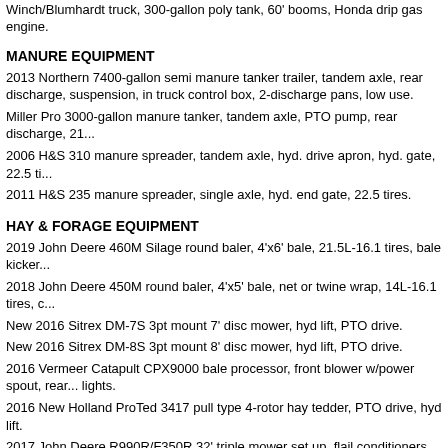Winch/Blumhardt truck, 300-gallon poly tank, 60' booms, Honda drip gas engine.
MANURE EQUIPMENT
2013 Northern 7400-gallon semi manure tanker trailer, tandem axle, rear discharge, suspension, in truck control box, 2-discharge pans, low use.
Miller Pro 3000-gallon manure tanker, tandem axle, PTO pump, rear discharge, 21...
2006 H&S 310 manure spreader, tandem axle, hyd. drive apron, hyd. gate, 22.5 ti...
2011 H&S 235 manure spreader, single axle, hyd. end gate, 22.5 tires.
HAY & FORAGE EQUIPMENT
2019 John Deere 460M Silage round baler, 4'x6' bale, 21.5L-16.1 tires, bale kicker...
2018 John Deere 450M round baler, 4'x5' bale, net or twine wrap, 14L-16.1 tires, c...
New 2016 Sitrex DM-7S 3pt mount 7' disc mower, hyd lift, PTO drive.
New 2016 Sitrex DM-8S 3pt mount 8' disc mower, hyd lift, PTO drive.
2016 Vermeer Catapult CPX9000 bale processor, front blower w/power spout, rear... lights.
2016 New Holland ProTed 3417 pull type 4-rotor hay tedder, PTO drive, hyd lift.
2017 John Deere R990R/F350R 32' triple mower set up, flail conditioners, PTO dri...
2014 Miller Ag-Bag G6170 silage bagger, 9' tunnel, 28" double apron infeed conve...